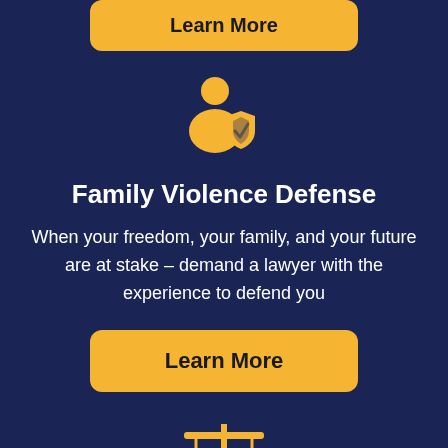[Figure (illustration): Yellow 'Learn More' button at top of page]
[Figure (illustration): Yellow icon of a person with a shield — representing family violence defense]
Family Violence Defense
When your freedom, your family, and your future are at stake – demand a lawyer with the experience to defend you
[Figure (illustration): Yellow 'Learn More' button]
[Figure (illustration): Yellow scales of justice icon at bottom of page]